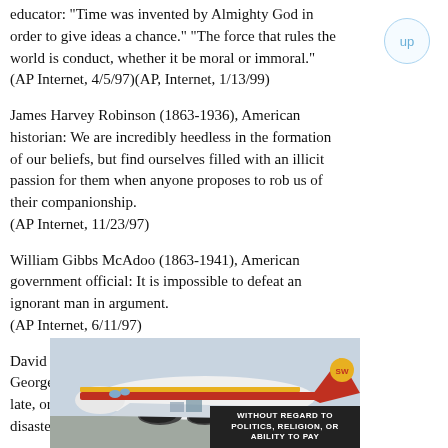educator: "Time was invented by Almighty God in order to give ideas a chance." "The force that rules the world is conduct, whether it be moral or immoral."
 (AP Internet, 4/5/97)(AP, Internet, 1/13/99)
James Harvey Robinson (1863-1936), American historian: We are incredibly heedless in the formation of our beliefs, but find ourselves filled with an illicit passion for them when anyone proposes to rob us of their companionship.
 (AP Internet, 11/23/97)
William Gibbs McAdoo (1863-1941), American government official: It is impossible to defeat an ignorant man in argument.
 (AP Internet, 6/11/97)
David Lloyd George (1863-1945), First Earl Lloyd-George of Dwyfor, English statesman It is always too late, or too little, or both. And that is the road to disaster.
[Figure (photo): Advertisement photo showing a cargo airplane on a tarmac with colorful livery (red, yellow, blue). Overlaid text reads 'WITHOUT REGARD TO POLITICS, RELIGION, OR ABILITY TO PAY'.]